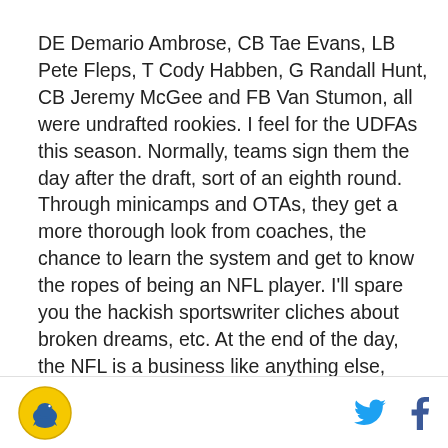DE Demario Ambrose, CB Tae Evans, LB Pete Fleps, T Cody Habben, G Randall Hunt, CB Jeremy McGee and FB Van Stumon, all were undrafted rookies. I feel for the UDFAs this season. Normally, teams sign them the day after the draft, sort of an eighth round. Through minicamps and OTAs, they get a more thorough look from coaches, the chance to learn the system and get to know the ropes of being an NFL player. I'll spare you the hackish sportswriter cliches about broken dreams, etc. At the end of the day, the NFL is a business like anything else, something that it's easy to forget as a
Logo | Twitter | Facebook